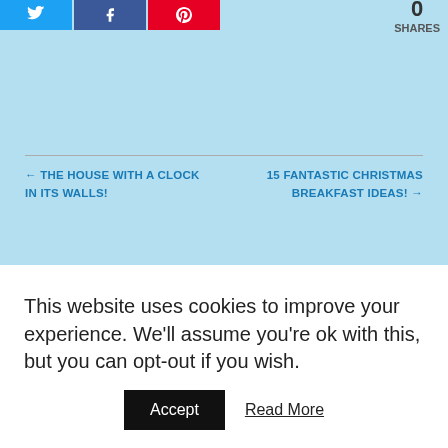[Figure (other): Social share buttons: Twitter (blue), Facebook (dark blue), Pinterest (red), and a shares count]
← THE HOUSE WITH A CLOCK IN ITS WALLS!
15 FANTASTIC CHRISTMAS BREAKFAST IDEAS! →
[Figure (other): Social media icons: email, facebook, instagram, pinterest, twitter — all in pink/magenta]
search here..
This website uses cookies to improve your experience. We'll assume you're ok with this, but you can opt-out if you wish.
Accept   Read More